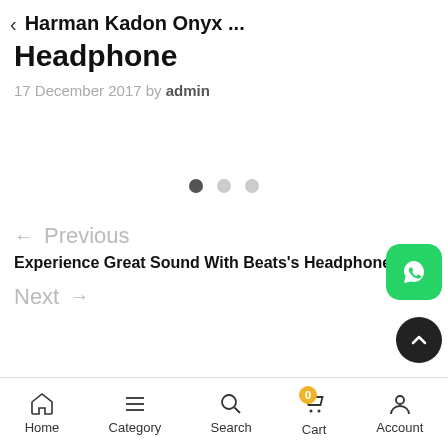Harman Kadon Onyx ...
Headphone
17 December 2017 by admin
[Figure (other): Carousel dot indicators: three dots, first one active (dark), two inactive (light grey)]
← Previous
Experience Great Sound With Beats's Headphone
Next →
[Figure (other): WhatsApp floating action button, green rounded square icon]
[Figure (other): Scroll to top button, dark circle with upward chevron]
Home  Category  Search  Cart  Account